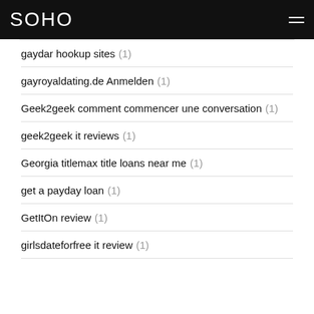SOHO
gaydar hookup sites (1)
gayroyaldating.de Anmelden (1)
Geek2geek comment commencer une conversation (1)
geek2geek it reviews (1)
Georgia titlemax title loans near me (1)
get a payday loan (1)
GetItOn review (1)
girlsdateforfree it review (1)